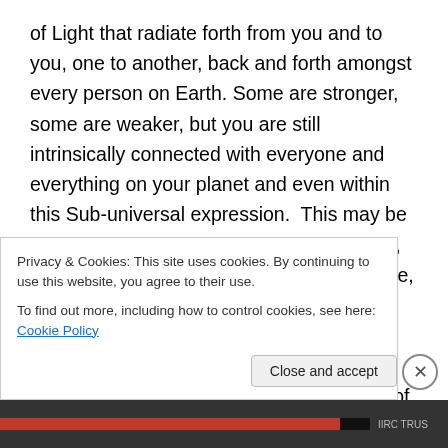of Light that radiate forth from you and to you, one to another, back and forth amongst every person on Earth. Some are stronger, some are weaker, but you are still intrinsically connected with everyone and everything on your planet and even within this Sub-universal expression.  This may be mind-boggling and hard for you to imagine, but it is true.   When we say you are all one, what does this really mean and how does this happen?  It is because there are those streams of Light that penetrate and filter through everyone, around and through all of the Earth. Yes, most of those streams of Light are very weak
Privacy & Cookies: This site uses cookies. By continuing to use this website, you agree to their use.
To find out more, including how to control cookies, see here: Cookie Policy
Close and accept